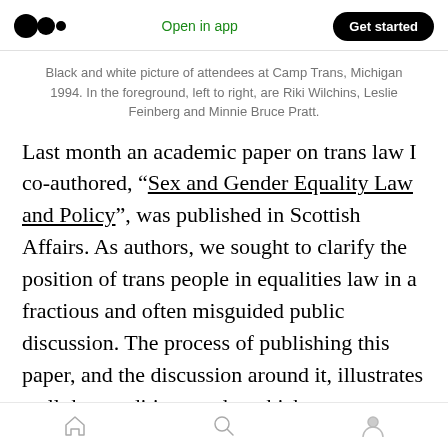Open in app  Get started
Black and white picture of attendees at Camp Trans, Michigan 1994. In the foreground, left to right, are Riki Wilchins, Leslie Feinberg and Minnie Bruce Pratt.
Last month an academic paper on trans law I co-authored, “Sex and Gender Equality Law and Policy”, was published in Scottish Affairs. As authors, we sought to clarify the position of trans people in equalities law in a fractious and often misguided public discussion. The process of publishing this paper, and the discussion around it, illustrates well the conditions under which trans academics are working and the difficulty of
Home  Search  Profile